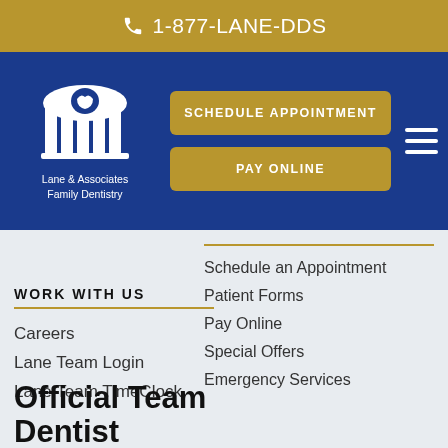1-877-LANE-DDS
[Figure (logo): Lane & Associates Family Dentistry logo — white stylized building/teeth icon on blue background with text below]
SCHEDULE APPOINTMENT
PAY ONLINE
Schedule an Appointment
Patient Forms
Pay Online
Special Offers
Emergency Services
WORK WITH US
Careers
Lane Team Login
Lane Team TimeClock
Official Team Dentist